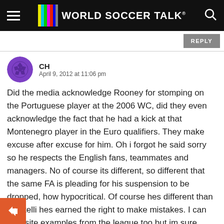WORLD SOCCER TALK
REPLY
CH
April 9, 2012 at 11:06 pm
Did the media acknowledge Rooney for stomping on the Portuguese player at the 2006 WC, did they even acknowledge the fact that he had a kick at that Montenegro player in the Euro qualifiers. They make excuse after excuse for him. Oh i forgot he said sorry so he respects the English fans, teammates and managers. No of course its different, so different that the same FA is pleading for his suspension to be dropped, how hypocritical. Of course hes different than Balotelli hes earned the right to make mistakes. I can also site examples from the league too but im sure